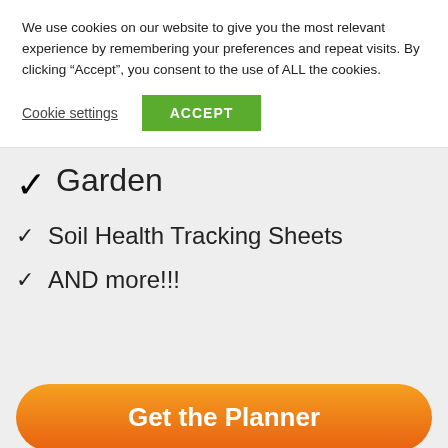We use cookies on our website to give you the most relevant experience by remembering your preferences and repeat visits. By clicking “Accept”, you consent to the use of ALL the cookies.
Cookie settings | ACCEPT
✓ Garden
✓ Soil Health Tracking Sheets
✓ AND more!!!
Get the Planner